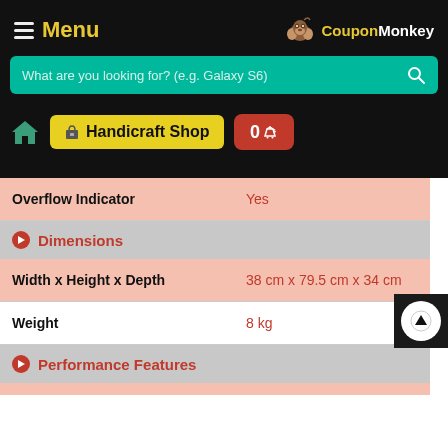Menu | CouponMonkey
What are you looking for? (e.g. Galaxy S6)
Handicraft Shop  0
| Property | Value |
| --- | --- |
| Overflow Indicator | Yes |
| Width x Height x Depth | 38 cm x 79.5 cm x 34 cm |
| Weight | 8 kg |
| Cooling Coverage Area | 150 Sq.ft |
Dimensions
Performance Features